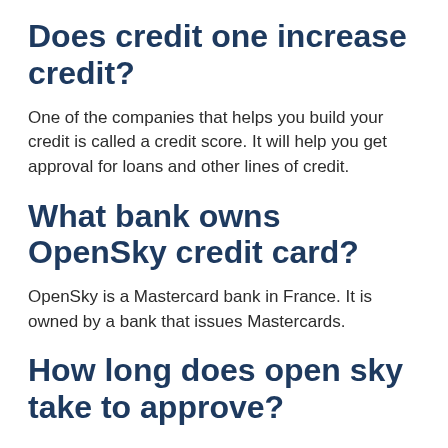Does credit one increase credit?
One of the companies that helps you build your credit is called a credit score. It will help you get approval for loans and other lines of credit.
What bank owns OpenSky credit card?
OpenSky is a Mastercard bank in France. It is owned by a bank that issues Mastercards.
How long does open sky take to approve?